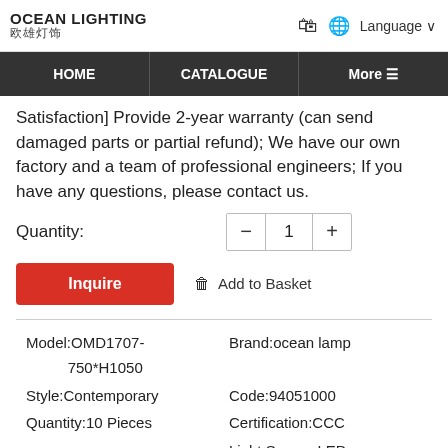OCEAN LIGHTING 欧雄灯饰
Satisfaction] Provide 2-year warranty (can send damaged parts or partial refund); We have our own factory and a team of professional engineers; If you have any questions, please contact us.
Quantity: 1
Inquire   Add to Basket
| Left | Right |
| --- | --- |
| Model:OMD1707-750*H1050 | Brand:ocean lamp |
| Style:Contemporary | Code:94051000 |
| Quantity:10 Pieces | Certification:CCC |
|  | Light Source:LED |